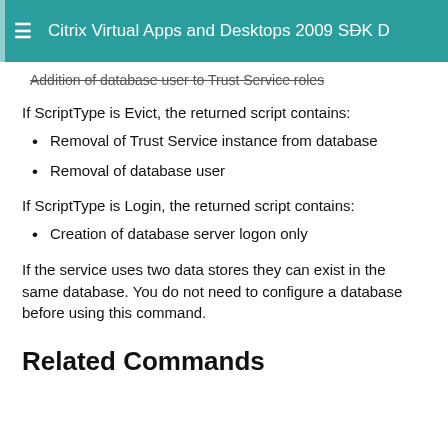Citrix Virtual Apps and Desktops 2009 SDK D
Addition of database user to Trust Service roles
If ScriptType is Evict, the returned script contains:
Removal of Trust Service instance from database
Removal of database user
If ScriptType is Login, the returned script contains:
Creation of database server logon only
If the service uses two data stores they can exist in the same database. You do not need to configure a database before using this command.
Related Commands